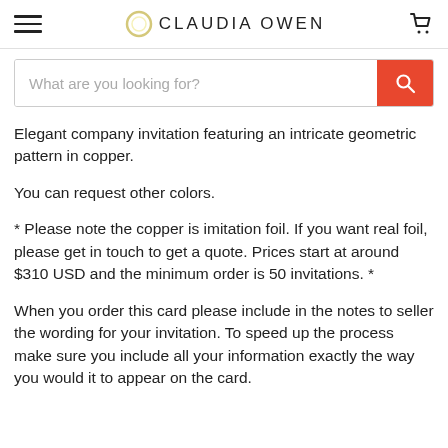CLAUDIA OWEN
Elegant company invitation featuring an intricate geometric pattern in copper.
You can request other colors.
* Please note the copper is imitation foil. If you want real foil, please get in touch to get a quote. Prices start at around $310 USD and the minimum order is 50 invitations. *
When you order this card please include in the notes to seller the wording for your invitation. To speed up the process make sure you include all your information exactly the way you would it to appear on the card.